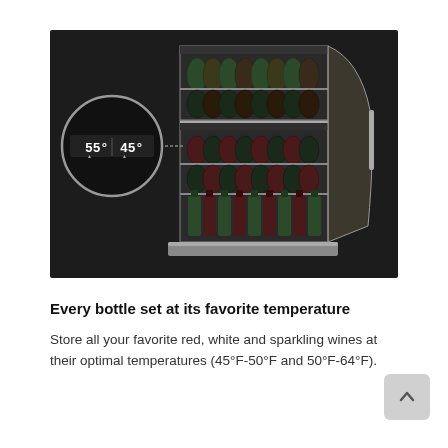[Figure (photo): A wine cooler/refrigerator with open glass door showing multiple shelves of wine bottles, with a circular magnified inset displaying a dual-zone temperature control panel reading '55° and 45°']
Every bottle set at its favorite temperature
Store all your favorite red, white and sparkling wines at their optimal temperatures (45°F-50°F and 50°F-64°F).